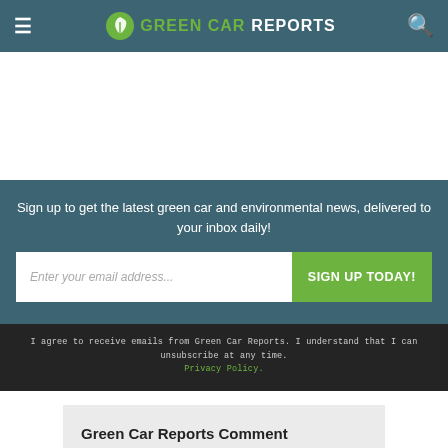GREEN CAR REPORTS
Sign up to get the latest green car and environmental news, delivered to your inbox daily!
Enter your email address... SIGN UP TODAY!
I agree to receive emails from Green Car Reports. I understand that I can unsubscribe at any time. Privacy Policy.
Green Car Reports Comment